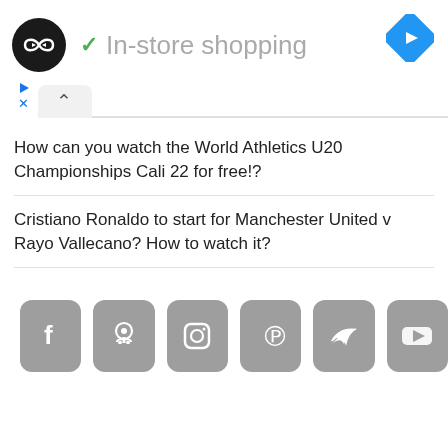[Figure (screenshot): Ad bar with logo (black circle with double infinite arrow icon), green checkmark, 'In-store shopping' text in gray, and blue diamond navigation icon on the right]
[Figure (screenshot): Ad controls: play triangle icon and X icon in blue, with a collapse/up-caret button on gray rounded tab]
How can you watch the World Athletics U20 Championships Cali 22 for free!?
Cristiano Ronaldo to start for Manchester United v Rayo Vallecano? How to watch it?
[Figure (screenshot): Social media icon buttons in a row: Facebook, GitHub, Instagram, Pinterest, Twitter, YouTube — all gray rounded square buttons with white icons]